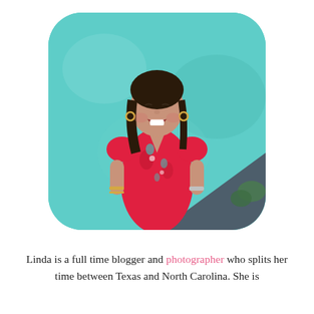[Figure (photo): A smiling Asian woman with long dark hair wearing a red floral dress, standing in front of a teal/turquoise painted wall with a dark diagonal stripe near the bottom. She is laughing with gold hoop earrings and bracelets. The photo is cropped with rounded corners resembling a squircle shape.]
Linda is a full time blogger and photographer who splits her time between Texas and North Carolina. She is